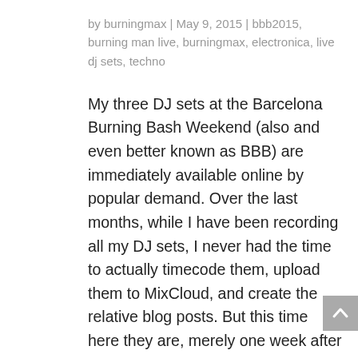by burningmax | May 9, 2015 | bbb2015, burning man live, burningmax, electronica, live dj sets, techno
My three DJ sets at the Barcelona Burning Bash Weekend (also and even better known as BBB) are immediately available online by popular demand. Over the last months, while I have been recording all my DJ sets, I never had the time to actually timecode them, upload them to MixCloud, and create the relative blog posts. But this time here they are, merely one week after the event, and all three of them! So here we go, a deep techno set